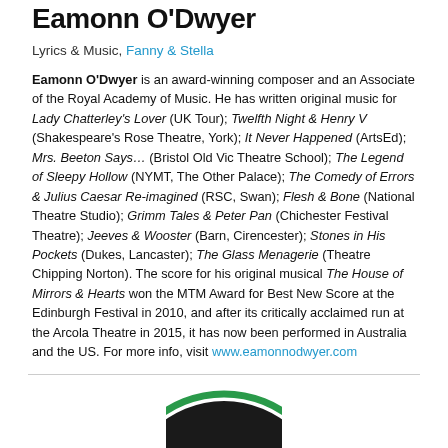Eamonn O'Dwyer
Lyrics & Music, Fanny & Stella
Eamonn O'Dwyer is an award-winning composer and an Associate of the Royal Academy of Music. He has written original music for Lady Chatterley's Lover (UK Tour); Twelfth Night & Henry V (Shakespeare's Rose Theatre, York); It Never Happened (ArtsEd); Mrs. Beeton Says... (Bristol Old Vic Theatre School); The Legend of Sleepy Hollow (NYMT, The Other Palace); The Comedy of Errors & Julius Caesar Re-imagined (RSC, Swan); Flesh & Bone (National Theatre Studio); Grimm Tales & Peter Pan (Chichester Festival Theatre); Jeeves & Wooster (Barn, Cirencester); Stones in His Pockets (Dukes, Lancaster); The Glass Menagerie (Theatre Chipping Norton). The score for his original musical The House of Mirrors & Hearts won the MTM Award for Best New Score at the Edinburgh Festival in 2010, and after its critically acclaimed run at the Arcola Theatre in 2015, it has now been performed in Australia and the US. For more info, visit www.eamonnodwyer.com
[Figure (photo): Circular portrait photo of Eamonn O'Dwyer with green circular border, partially visible at bottom of page]